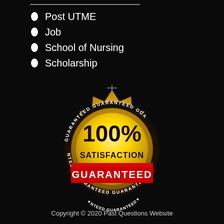Post UTME
Job
School of Nursing
Scholarship
[Figure (illustration): Gold satisfaction guarantee badge/seal with '100% SATISFACTION GUARANTEED' text, red ribbon banner across the bottom reading 'GUARANTEED', circular text around the border reading 'GUARANTEED' repeated, on a black background.]
Copyright © 2020 Past Questions Website